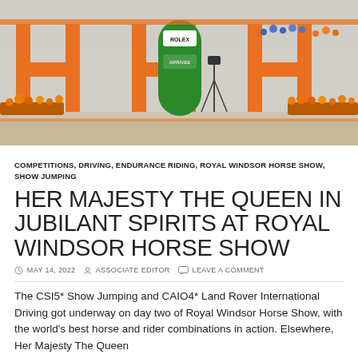[Figure (photo): Orange H H H arena letters with a green Rolex/Arrivee sign in the center, flowers and a tripod on a sandy ground at Royal Windsor Horse Show]
COMPETITIONS, DRIVING, ENDURANCE RIDING, ROYAL WINDSOR HORSE SHOW, SHOW JUMPING
HER MAJESTY THE QUEEN IN JUBILANT SPIRITS AT ROYAL WINDSOR HORSE SHOW
MAY 14, 2022  ASSOCIATE EDITOR  LEAVE A COMMENT
The CSI5* Show Jumping and CAIO4* Land Rover International Driving got underway on day two of Royal Windsor Horse Show, with the world's best horse and rider combinations in action. Elsewhere, Her Majesty The Queen